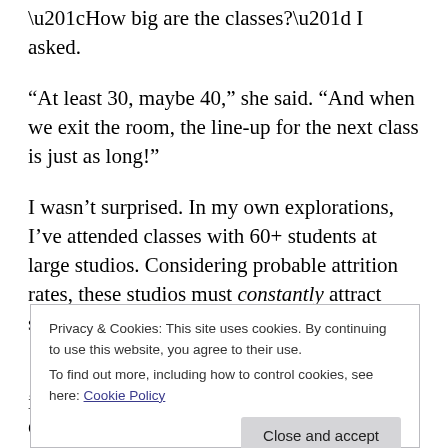“How big are the classes?” I asked.
“At least 30, maybe 40,” she said. “And when we exit the room, the line-up for the next class is just as long!”
I wasn’t surprised. In my own explorations, I’ve attended classes with 60+ students at large studios. Considering probable attrition rates, these studios must constantly attract scads of new students to keep these
established Iyengar yoga teachers, especially
Privacy & Cookies: This site uses cookies. By continuing to use this website, you agree to their use.
To find out more, including how to control cookies, see here: Cookie Policy